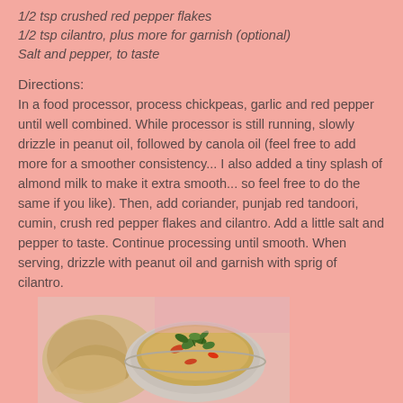1/2 tsp crushed red pepper flakes
1/2 tsp cilantro, plus more for garnish (optional)
Salt and pepper, to taste
Directions:
In a food processor, process chickpeas, garlic and red pepper until well combined. While processor is still running, slowly drizzle in peanut oil, followed by canola oil (feel free to add more for a smoother consistency... I also added a tiny splash of almond milk to make it extra smooth... so feel free to do the same if you like). Then, add coriander, punjab red tandoori, cumin, crush red pepper flakes and cilantro. Add a little salt and pepper to taste. Continue processing until smooth. When serving, drizzle with peanut oil and garnish with sprig of cilantro.
[Figure (photo): A bowl of hummus/chickpea dip garnished with cilantro leaves, served with crackers or flatbread on a pinkish surface.]